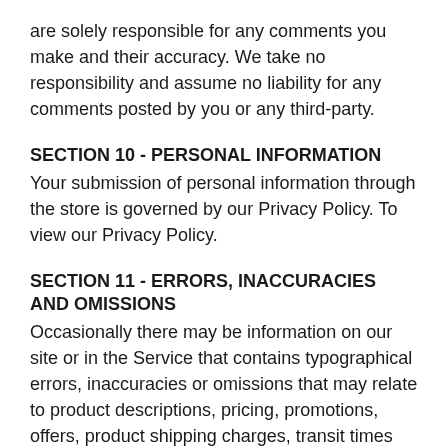are solely responsible for any comments you make and their accuracy. We take no responsibility and assume no liability for any comments posted by you or any third-party.
SECTION 10 - PERSONAL INFORMATION
Your submission of personal information through the store is governed by our Privacy Policy. To view our Privacy Policy.
SECTION 11 - ERRORS, INACCURACIES AND OMISSIONS
Occasionally there may be information on our site or in the Service that contains typographical errors, inaccuracies or omissions that may relate to product descriptions, pricing, promotions, offers, product shipping charges, transit times and availability. We reserve the right to correct any errors, inaccuracies or omissions, and to change or update information or cancel orders if any information in the Service or on